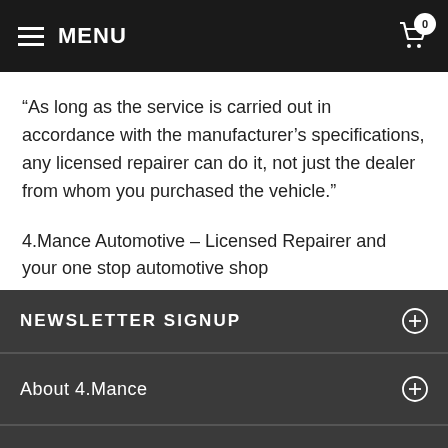MENU
“As long as the service is carried out in accordance with the manufacturer’s specifications, any licensed repairer can do it, not just the dealer from whom you purchased the vehicle.”
4.Mance Automotive – Licensed Repairer and your one stop automotive shop
NEWSLETTER SIGNUP
About 4.Mance
Store